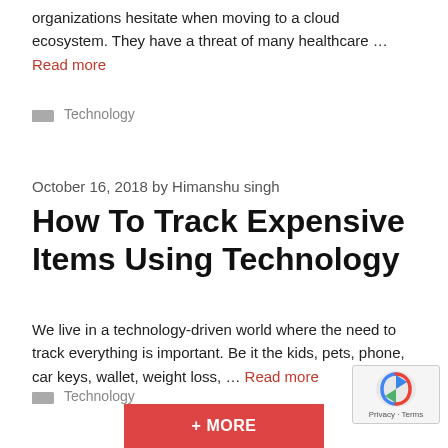organizations hesitate when moving to a cloud ecosystem. They have a threat of many healthcare … Read more
Technology
October 16, 2018 by Himanshu singh
How To Track Expensive Items Using Technology
We live in a technology-driven world where the need to track everything is important. Be it the kids, pets, phone, car keys, wallet, weight loss, … Read more
Technology